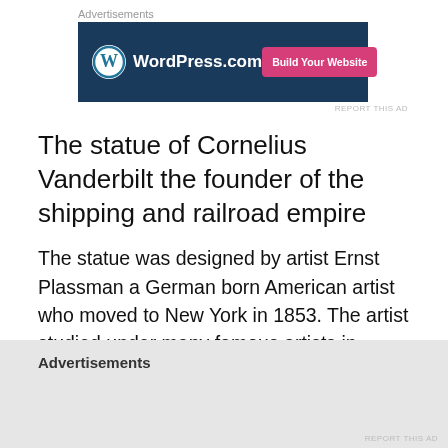Advertisements
[Figure (other): WordPress.com advertisement banner with logo and 'Build Your Website' pink button on dark blue background]
The statue of Cornelius Vanderbilt the founder of the shipping and railroad empire
The statue was designed by artist Ernst Plassman a German born American artist who moved to New York in 1853. The artist studied under many famous artists in Europe before founding the “Plassman’s School of Art” in New York City in 1854.
[Figure (photo): Dark portrait painting showing a man's face with golden hair against a dark background]
Advertisements